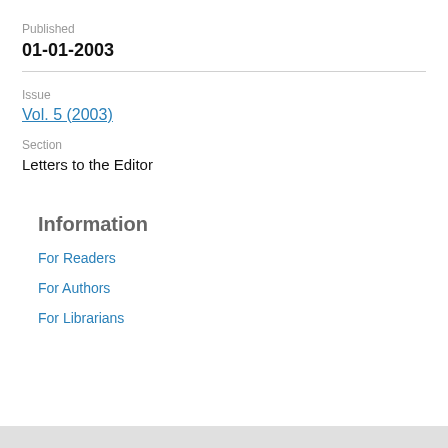Published
01-01-2003
Issue
Vol. 5 (2003)
Section
Letters to the Editor
Information
For Readers
For Authors
For Librarians